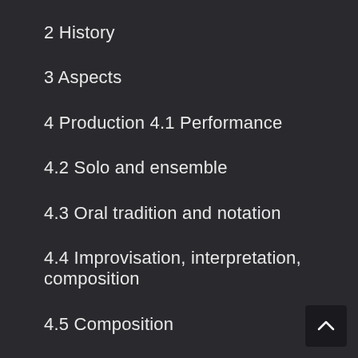2 History
3 Aspects
4 Production 4.1 Performance
4.2 Solo and ensemble
4.3 Oral tradition and notation
4.4 Improvisation, interpretation, composition
4.5 Composition
Main article: Definition of music